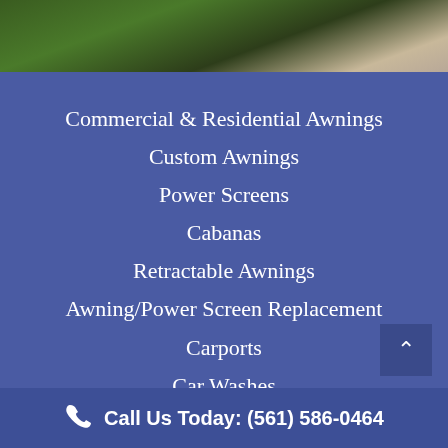[Figure (photo): Outdoor photo showing green foliage, bushes, and ground cover/mulch in a garden or yard setting]
Commercial & Residential Awnings
Custom Awnings
Power Screens
Cabanas
Retractable Awnings
Awning/Power Screen Replacement
Carports
Car Washes
Walkway Covers
Call Us Today: (561) 586-0464